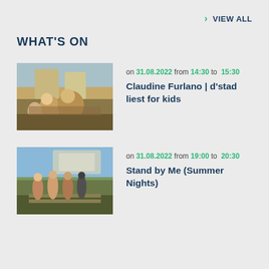> VIEW ALL
WHAT'S ON
[Figure (photo): Outdoor scene with adults and children sitting at a table reading, cobblestone street in background]
on 31.08.2022 from 14:30 to 15:30
Claudine Furlano | d'stad liest for kids
[Figure (photo): Group of young people walking along a railway track with mountains in background]
on 31.08.2022 from 19:00 to 20:30
Stand by Me (Summer Nights)